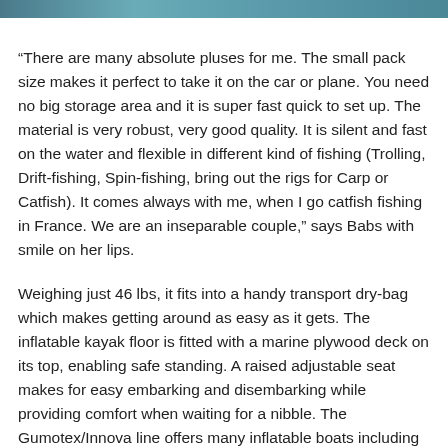[Figure (photo): Partial photo strip visible at top of page, appears to show outdoor/water scene]
“There are many absolute pluses for me. The small pack size makes it perfect to take it on the car or plane. You need no big storage area and it is super fast quick to set up. The material is very robust, very good quality. It is silent and fast on the water and flexible in different kind of fishing (Trolling, Drift-fishing, Spin-fishing, bring out the rigs for Carp or Catfish). It comes always with me, when I go catfish fishing in France. We are an inseparable couple,” says Babs with smile on her lips.
Weighing just 46 lbs, it fits into a handy transport dry-bag which makes getting around as easy as it gets. The inflatable kayak floor is fitted with a marine plywood deck on its top, enabling safe standing. A raised adjustable seat makes for easy embarking and disembarking while providing comfort when waiting for a nibble. The Gumotex/Innova line offers many inflatable boats including inflatable canoes, kayaks, rafts and larger fishing boats. When you are ready to simplify the Halibut inflatable fishing kayak ranks at the